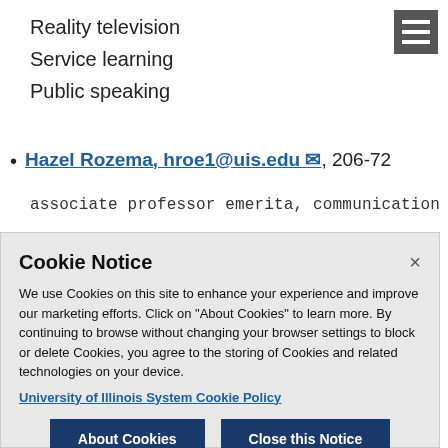Reality television
Service learning
Public speaking
Hazel Rozema, hroe1@uis.edu, 206-72...
associate professor emerita, communication
Cookie Notice
We use Cookies on this site to enhance your experience and improve our marketing efforts. Click on “About Cookies” to learn more. By continuing to browse without changing your browser settings to block or delete Cookies, you agree to the storing of Cookies and related technologies on your device.
University of Illinois System Cookie Policy
About Cookies
Close this Notice